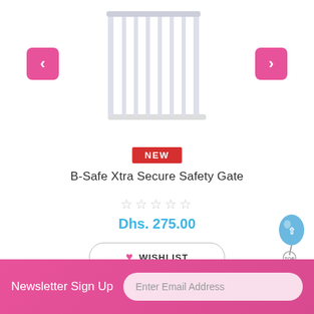[Figure (photo): White metal baby safety gate with vertical bars, shown in a product listing carousel with pink left/right navigation arrows]
NEW
B-Safe Xtra Secure Safety Gate
☆☆☆☆☆
Dhs. 275.00
♥ WISHLIST
ADD TO CART
Newsletter Sign Up  Enter Email Address